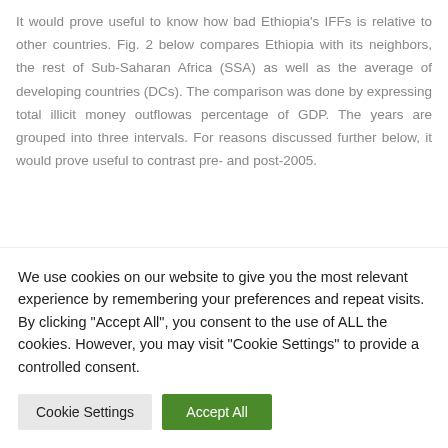It would prove useful to know how bad Ethiopia's IFFs is relative to other countries. Fig. 2 below compares Ethiopia with its neighbors, the rest of Sub-Saharan Africa (SSA) as well as the average of developing countries (DCs). The comparison was done by expressing total illicit money outflowas percentage of GDP. The years are grouped into three intervals. For reasons discussed further below, it would prove useful to contrast pre- and post-2005.
We use cookies on our website to give you the most relevant experience by remembering your preferences and repeat visits. By clicking "Accept All", you consent to the use of ALL the cookies. However, you may visit "Cookie Settings" to provide a controlled consent.